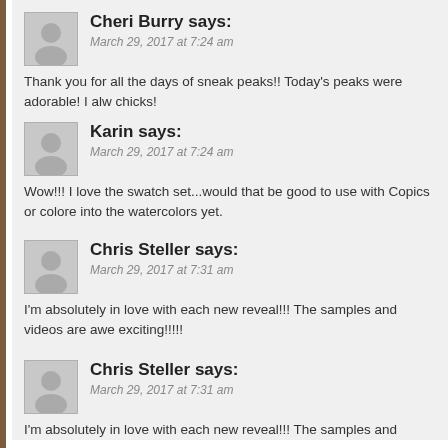Cheri Burry says:
March 29, 2017 at 7:24 am
Thank you for all the days of sneak peaks!! Today's peaks were adorable! I alw chicks!
REPLY
Karin says:
March 29, 2017 at 7:24 am
Wow!!! I love the swatch set...would that be good to use with Copics or colore into the watercolors yet.
REPLY
Chris Steller says:
March 29, 2017 at 7:31 am
I'm absolutely in love with each new reveal!!! The samples and videos are awe exciting!!!!!
REPLY
Chris Steller says:
March 29, 2017 at 7:31 am
I'm absolutely in love with each new reveal!!! The samples and videos are awe